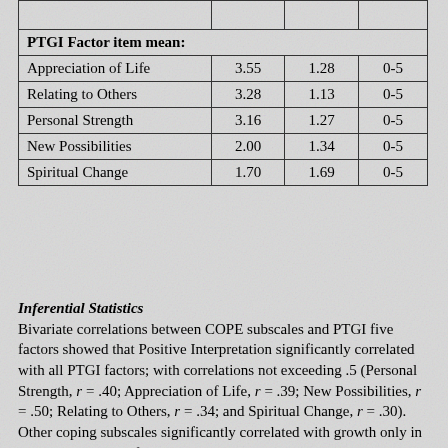|  |  |  |  |
| --- | --- | --- | --- |
| PTGI Factor item mean: |  |  |  |
| Appreciation of Life | 3.55 | 1.28 | 0-5 |
| Relating to Others | 3.28 | 1.13 | 0-5 |
| Personal Strength | 3.16 | 1.27 | 0-5 |
| New Possibilities | 2.00 | 1.34 | 0-5 |
| Spiritual Change | 1.70 | 1.69 | 0-5 |
Inferential Statistics
Bivariate correlations between COPE subscales and PTGI five factors showed that Positive Interpretation significantly correlated with all PTGI factors; with correlations not exceeding .5 (Personal Strength, r = .40; Appreciation of Life, r = .39; New Possibilities, r = .50; Relating to Others, r = .34; and Spiritual Change, r = .30). Other coping subscales significantly correlated with growth only in the PTG domains of New Possibilities and Relating to Others. The significant COPE subscales were Positive Interpretation, Instrumental Social Support, Emotional Social Support, Focus On and Venting Emotions, and Active coping (see Table 2).